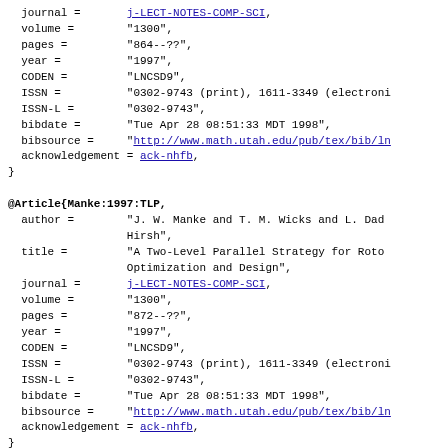journal = j-LECT-NOTES-COMP-SCI,
  volume = "1300",
  pages = "864--??",
  year = "1997",
  CODEN = "LNCSD9",
  ISSN = "0302-9743 (print), 1611-3349 (electronic)",
  ISSN-L = "0302-9743",
  bibdate = "Tue Apr 28 08:51:33 MDT 1998",
  bibsource = "http://www.math.utah.edu/pub/tex/bib/ln",
  acknowledgement = ack-nhfb,
}
@Article{Manke:1997:TLP,
  author = "J. W. Manke and T. M. Wicks and L. Dado Hirsh",
  title = "A Two-Level Parallel Strategy for Rotor Optimization and Design",
  journal = j-LECT-NOTES-COMP-SCI,
  volume = "1300",
  pages = "872--??",
  year = "1997",
  CODEN = "LNCSD9",
  ISSN = "0302-9743 (print), 1611-3349 (electronic)",
  ISSN-L = "0302-9743",
  bibdate = "Tue Apr 28 08:51:33 MDT 1998",
  bibsource = "http://www.math.utah.edu/pub/tex/bib/ln",
  acknowledgement = ack-nhfb,
}
@Article{Kumar:1997:SLB,
  author =